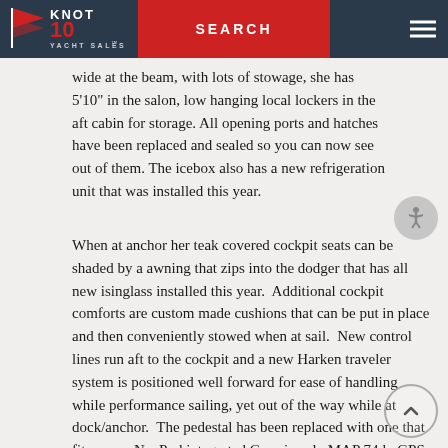KNOT 10 YACHT SALES — SEARCH
wide at the beam, with lots of stowage, she has 5'10" in the salon, low hanging local lockers in the aft cabin for storage. All opening ports and hatches have been replaced and sealed so you can now see out of them. The icebox also has a new refrigeration unit that was installed this year.
When at anchor her teak covered cockpit seats can be shaded by a awning that zips into the dodger that has all new isinglass installed this year.  Additional cockpit comforts are custom made cushions that can be put in place and then conveniently stowed when at sail.  New control lines run aft to the cockpit and a new Harken traveler system is positioned well forward for ease of handling while performance sailing, yet out of the way while at dock/anchor.  The pedestal has been replaced with one that fits a new NavPod integrated Garmin echoMAP 74dv GPS and updated Nexus Garmin instruments. Her main sail and genoa have all been